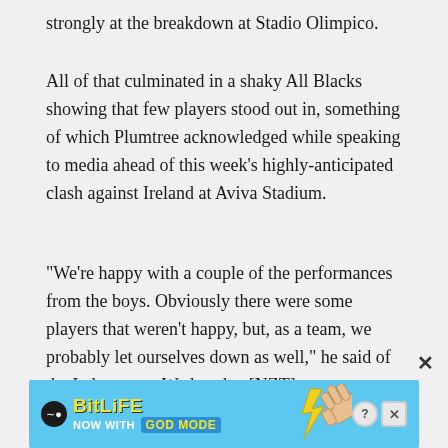strongly at the breakdown at Stadio Olimpico.
All of that culminated in a shaky All Blacks showing that few players stood out in, something of which Plumtree acknowledged while speaking to media ahead of this week's highly-anticipated clash against Ireland at Aviva Stadium.
“We’re happy with a couple of the performances from the boys. Obviously there were some players that weren’t happy, but, as a team, we probably let ourselves down as well,” he said of the Italy test on Wednesday [NZT].
[Figure (screenshot): BitLife advertisement banner with 'NOW WITH GOD MODE' text on a light blue background with cartoon hand graphic]